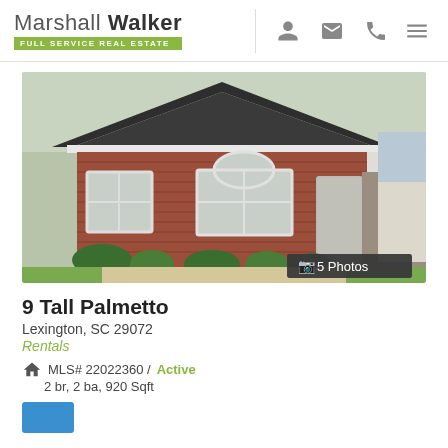Marshall Walker Full Service Real Estate
[Figure (photo): Exterior photo of a single-story brick house with white trim, large front windows, concrete driveway, and green shrubs. Badge reads: 5 Photos]
9 Tall Palmetto
Lexington, SC 29072
Rentals
MLS# 22022360 / Active
2 br, 2 ba, 920 Sqft